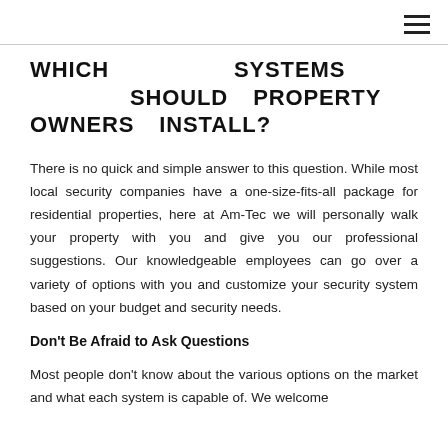≡
WHICH SYSTEMS SHOULD PROPERTY OWNERS INSTALL?
There is no quick and simple answer to this question. While most local security companies have a one-size-fits-all package for residential properties, here at Am-Tec we will personally walk your property with you and give you our professional suggestions. Our knowledgeable employees can go over a variety of options with you and customize your security system based on your budget and security needs.
Don't Be Afraid to Ask Questions
Most people don't know about the various options on the market and what each system is capable of. We welcome